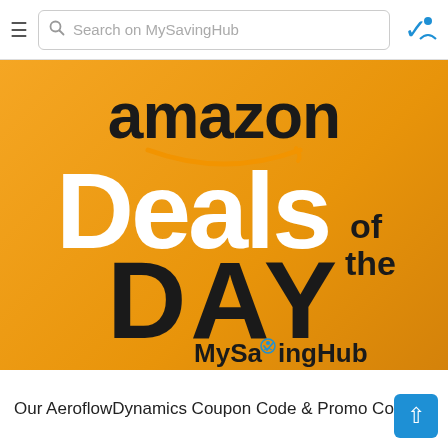≡  Search on MySavingHub  ✓
[Figure (logo): Amazon Deals of the Day promotional banner with orange/golden background. Large text reads 'amazon' in black with smile logo, 'Deals' in large white bold text, 'of the' in smaller black text, 'DAY' in large black bold text, and 'MySavingHub' branding at bottom right with blue checkmark icon.]
Our AeroflowDynamics Coupon Code & Promo Codes